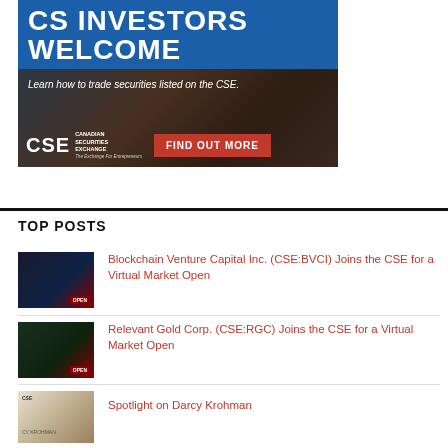[Figure (illustration): CSE (Canadian Securities Exchange) advertisement banner with blue header reading 'CS INVESTORS WELCOME', photo of hands on laptop, text 'Learn how to trade securities listed on the CSE.', CSE logo, and red 'FIND OUT MORE' button]
TOP POSTS
[Figure (photo): Thumbnail image for Blockchain Venture Capital Inc. virtual market open post]
Blockchain Venture Capital Inc. (CSE:BVCI) Joins the CSE for a Virtual Market Open
[Figure (photo): Thumbnail image for Relevant Gold Corp. virtual market open post]
Relevant Gold Corp. (CSE:RGC) Joins the CSE for a Virtual Market Open
[Figure (photo): Thumbnail image for Spotlight on Darcy Krohman post]
Spotlight on Darcy Krohman